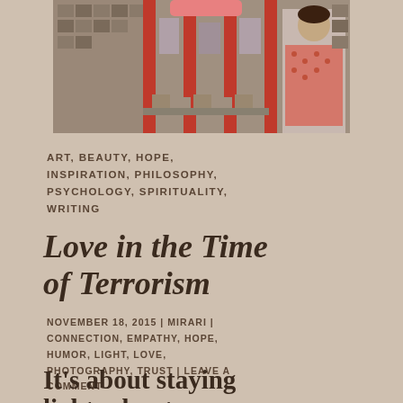[Figure (photo): A photograph showing a storefront with red vertical bars/railings, with clothing and items visible inside, and a person in a patterned dress visible on the right side]
ART, BEAUTY, HOPE, INSPIRATION, PHILOSOPHY, PSYCHOLOGY, SPIRITUALITY, WRITING
Love in the Time of Terrorism
NOVEMBER 18, 2015 | MIRARI | CONNECTION, EMPATHY, HOPE, HUMOR, LIGHT, LOVE, PHOTOGRAPHY, TRUST | LEAVE A COMMENT
It's about staying light; about